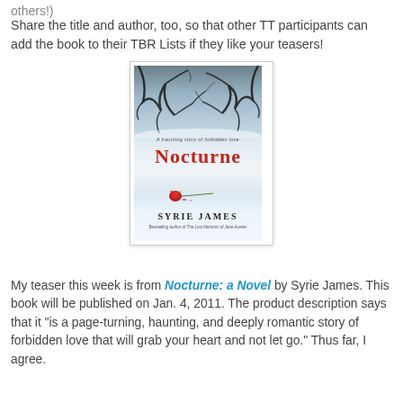others!)
Share the title and author, too, so that other TT participants can add the book to their TBR Lists if they like your teasers!
[Figure (illustration): Book cover of 'Nocturne: a Novel' by Syrie James. Cover shows a wintry scene with bare dark tree branches against a pale blue-grey sky, a red rose lying in snow, and the title 'NOCTURNE' in bold red letters. Author name 'SYRIE JAMES' in black at the bottom.]
My teaser this week is from Nocturne: a Novel by Syrie James. This book will be published on Jan. 4, 2011. The product description says that it "is a page-turning, haunting, and deeply romantic story of forbidden love that will grab your heart and not let go." Thus far, I agree.